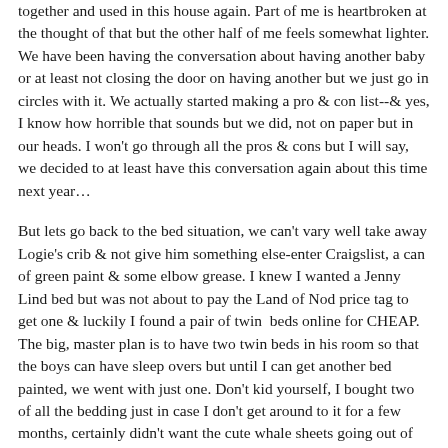together and used in this house again. Part of me is heartbroken at the thought of that but the other half of me feels somewhat lighter. We have been having the conversation about having another baby or at least not closing the door on having another but we just go in circles with it. We actually started making a pro & con list--& yes, I know how horrible that sounds but we did, not on paper but in our heads. I won't go through all the pros & cons but I will say, we decided to at least have this conversation again about this time next year…
But lets go back to the bed situation, we can't vary well take away Logie's crib & not give him something else-enter Craigslist, a can of green paint & some elbow grease. I knew I wanted a Jenny Lind bed but was not about to pay the Land of Nod price tag to get one & luckily I found a pair of twin beds online for CHEAP. The big, master plan is to have two twin beds in his room so that the boys can have sleep overs but until I can get another bed painted, we went with just one. Don't kid yourself, I bought two of all the bedding just in case I don't get around to it for a few months, certainly didn't want the cute whale sheets going out of stock. Oh and his reel sheets, well they are some what on back order and will